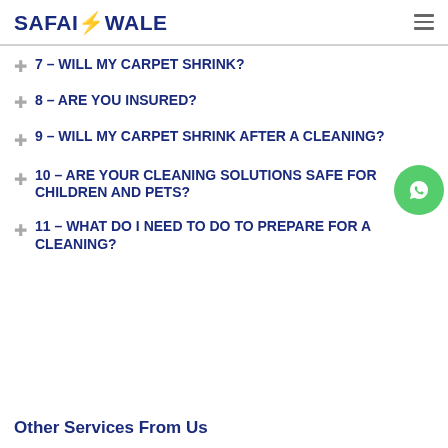SAFAIWALE
7 – WILL MY CARPET SHRINK?
8 – ARE YOU INSURED?
9 – WILL MY CARPET SHRINK AFTER A CLEANING?
10 – ARE YOUR CLEANING SOLUTIONS SAFE FOR CHILDREN AND PETS?
11 – WHAT DO I NEED TO DO TO PREPARE FOR A CLEANING?
Other Services From Us